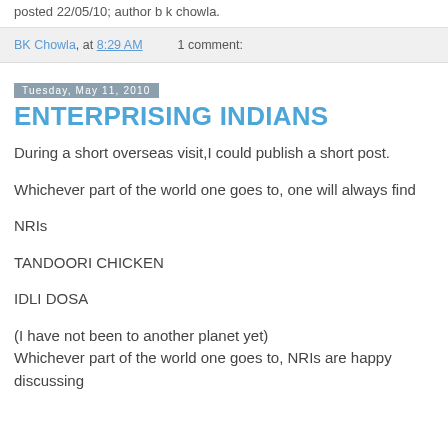posted 22/05/10; author b k chowla.
BK Chowla, at 8:29 AM    1 comment:
Tuesday, May 11, 2010
ENTERPRISING INDIANS
During a short overseas visit,I could publish a short post.
Whichever part of the world one goes to, one will always find
NRIs
TANDOORI CHICKEN
IDLI DOSA
(I have not been to another planet yet)
Whichever part of the world one goes to, NRIs are happy discussing